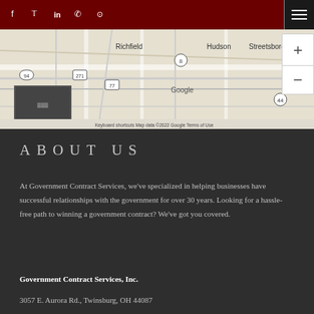[Figure (screenshot): Navigation bar with dark red background containing social media icons (Facebook, Twitter, LinkedIn, Phone, Location) and a hamburger menu icon on the right]
[Figure (map): Google Maps view showing area around Twinsburg, Ohio including Richfield, Hudson, Streetsboro with highway markers 94, 271, 77, 8, 44. Shows 'Keyboard shortcuts', 'Map data ©2022 Google', 'Terms of Use' at bottom. Zoom controls (+/-) on right side.]
ABOUT US
At Government Contract Services, we've specialized in helping businesses have successful relationships with the government for over 30 years. Looking for a hassle-free path to winning a government contract? We've got you covered.
Government Contract Services, Inc.
3057 E. Aurora Rd., Twinsburg, OH 44087